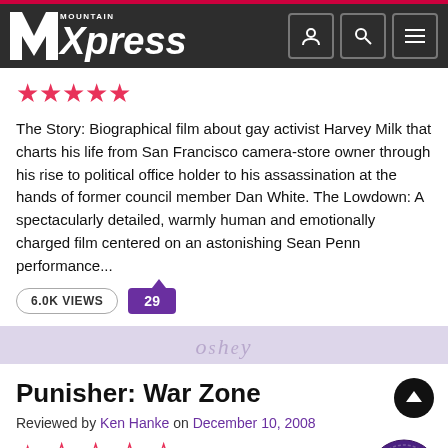Mountain Xpress
[Figure (other): Star rating: 4.5 out of 5 pink stars]
The Story: Biographical film about gay activist Harvey Milk that charts his life from San Francisco camera-store owner through his rise to political office holder to his assassination at the hands of former council member Dan White. The Lowdown: A spectacularly detailed, warmly human and emotionally charged film centered on an astonishing Sean Penn performance...
6.0K VIEWS  29
[Figure (other): Decorative section divider with cursive text 'o shey']
Punisher: War Zone
Reviewed by Ken Hanke on December 10, 2008
[Figure (other): Star rating: 1 out of 5 pink stars]
The Story: The Punisher goes after master criminal Jigsaw